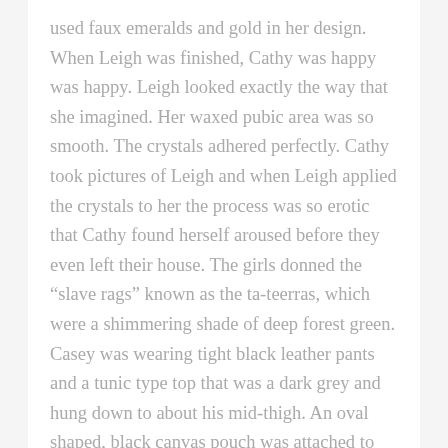used faux emeralds and gold in her design. When Leigh was finished, Cathy was happy was happy. Leigh looked exactly the way that she imagined. Her waxed pubic area was so smooth. The crystals adhered perfectly. Cathy took pictures of Leigh and when Leigh applied the crystals to her the process was so erotic that Cathy found herself aroused before they even left their house. The girls donned the “slave rags” known as the ta-teerras, which were a shimmering shade of deep forest green. Casey was wearing tight black leather pants and a tunic type top that was a dark grey and hung down to about his mid-thigh. An oval shaped, black canvas pouch was attached to his belt. He wore thin black dress boots. The girls were barefoot. Casey hired a car and